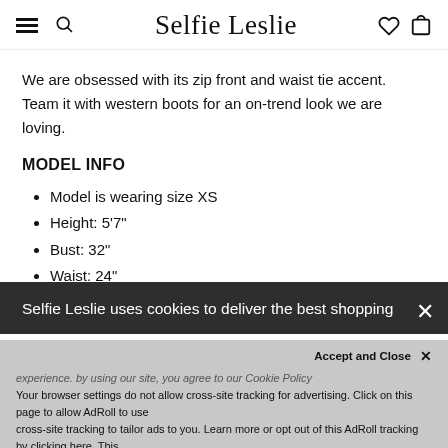Selfie Leslie — navigation bar with hamburger menu, search, brand logo, heart/wishlist, and shopping bag icons
We are obsessed with its zip front and waist tie accent. Team it with western boots for an on-trend look we are loving.
MODEL INFO
Model is wearing size XS
Height: 5'7"
Bust: 32"
Waist: 24"
Hips: 34"
Selfie Leslie uses cookies to deliver the best shopping
experience. by using our site, you agree to our Cookie Policy
Your browser settings do not allow cross-site tracking for advertising. Click on this page to allow AdRoll to use cross-site tracking to tailor ads to you. Learn more or opt out of this AdRoll tracking by clicking here. This message only appears once.